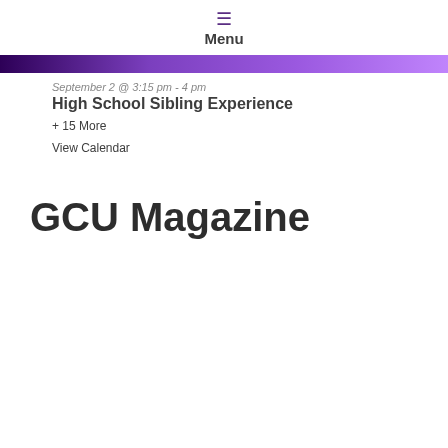Menu
September 2 @ 3:15 pm - 4 pm
High School Sibling Experience
+ 15 More
View Calendar
GCU Magazine